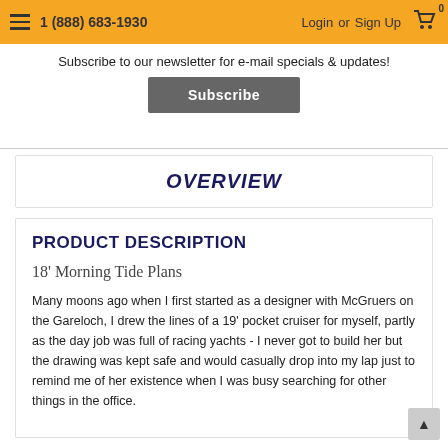1 (888) 683-1930  Login or Sign Up
Subscribe to our newsletter for e-mail specials & updates!
Subscribe
OVERVIEW
PRODUCT DESCRIPTION
18' Morning Tide Plans
Many moons ago when I first started as a designer with McGruers on the Gareloch, I drew the lines of a 19' pocket cruiser for myself, partly as the day job was full of racing yachts - I never got to build her but the drawing was kept safe and would casually drop into my lap just to remind me of her existence when I was busy searching for other things in the office.